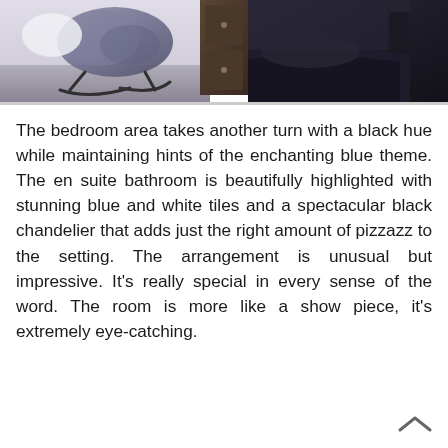[Figure (photo): Interior design photo showing a fuzzy blue-grey rocking chair on the left side and a dark bedroom area with black bedding on the right side, separated by a dark wooden dresser/furniture piece.]
The bedroom area takes another turn with a black hue while maintaining hints of the enchanting blue theme. The en suite bathroom is beautifully highlighted with stunning blue and white tiles and a spectacular black chandelier that adds just the right amount of pizzazz to the setting. The arrangement is unusual but impressive. It's really special in every sense of the word. The room is more like a show piece, it's extremely eye-catching.